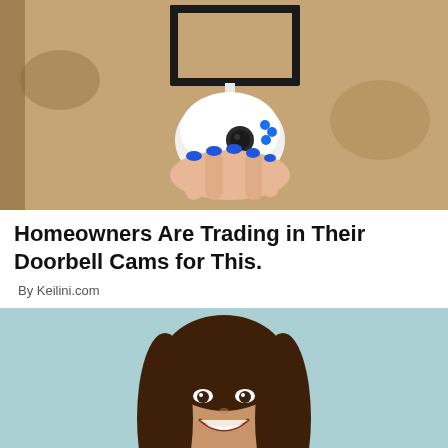[Figure (photo): A white security/surveillance camera mounted under a black metal bracket on a sandy/brick wall, with a hand with blue painted nails holding or touching the camera.]
Homeowners Are Trading in Their Doorbell Cams for This.
By Keilini.com
[Figure (photo): A smiling young woman with long brown hair against a light teal/mint blue background, holding something at the bottom of the frame.]